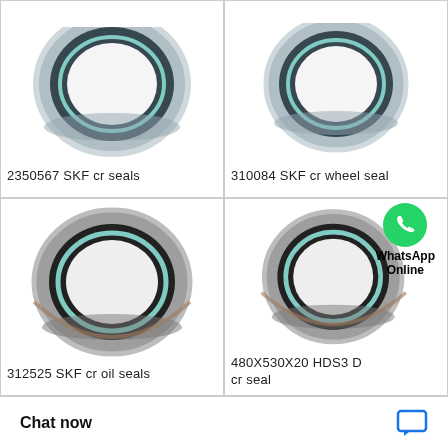[Figure (photo): Top-left: circular oil seal ring, metallic silver outer ring with dark rubber inner lip, view from front/top angle. Product: 2350567 SKF cr seals]
2350567 SKF cr seals
[Figure (photo): Top-right: circular wheel seal ring, metallic silver outer ring with dark rubber inner lip. Product: 310084 SKF cr wheel seal]
310084 SKF cr wheel seal
[Figure (photo): Bottom-left: large circular oil seal ring, metallic silver outer ring with dark rubber inner lip. Product: 312525 SKF cr oil seals]
312525 SKF cr oil seals
[Figure (photo): Bottom-right: large circular seal ring with WhatsApp Online overlay icon. Product: 480X530X20 HDS3 D cr seal]
480X530X20 HDS3 D cr seal
Chat now